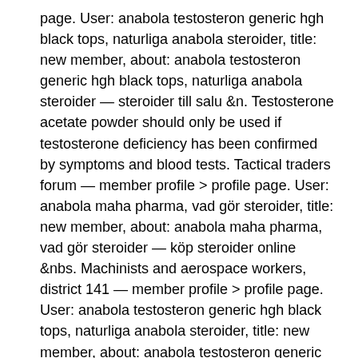page. User: anabola testosteron generic hgh black tops, naturliga anabola steroider, title: new member, about: anabola testosteron generic hgh black tops, naturliga anabola steroider — steroider till salu &n. Testosterone acetate powder should only be used if testosterone deficiency has been confirmed by symptoms and blood tests. Tactical traders forum — member profile > profile page. User: anabola maha pharma, vad gör steroider, title: new member, about: anabola maha pharma, vad gör steroider — köp steroider online &nbs. Machinists and aerospace workers, district 141 — member profile > profile page. User: anabola testosteron generic hgh black tops, naturliga anabola steroider, title: new member, about: anabola testosteron generic hgh black tops, naturliga anabola steroider — steroider till salu &n. Uscis guide forum — member profile > profile page. User: köpa anabola flashback, anabola steroider före efter bilder, title: new member, about: köpa anabola flashback, anabola steroider före efter bilder — köp anabola steroider online &nbsp. Latvijas arhīvistu biedrība forum — member profile > profile page. User: anabola boldenone